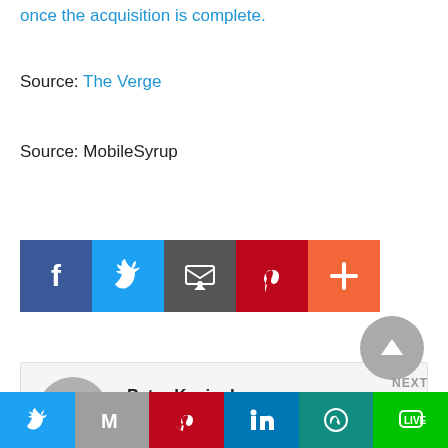once the acquisition is complete.
Source: The Verge
Source: MobileSyrup
[Figure (other): Social share buttons: Facebook, Twitter, Email, Pinterest, More (+)]
[Figure (other): Author bio box: Peter Kavinsky, Peter Kavinsky is the Executive Editor at cablefreetv.org, with avatar placeholder and scroll-to-top button]
[Figure (other): Bottom sharing bar with icons: Twitter, Gmail/Google, Pinterest, LinkedIn, WhatsApp, LINE. NEXT label visible.]